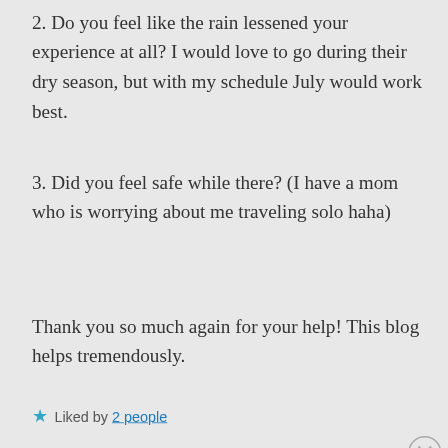2. Do you feel like the rain lessened your experience at all? I would love to go during their dry season, but with my schedule July would work best.
3. Did you feel safe while there? (I have a mom who is worrying about me traveling solo haha)
Thank you so much again for your help! This blog helps tremendously.
★ Liked by 2 people
Advertisements
[Figure (screenshot): Advertisement banner with dark background showing 'Launch your online course with WordPress' with a Learn More button and a circular icon.]